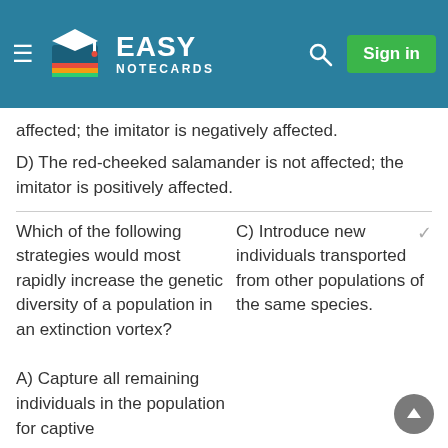EASY NOTECARDS
affected; the imitator is negatively affected.
D) The red-cheeked salamander is not affected; the imitator is positively affected.
Which of the following strategies would most rapidly increase the genetic diversity of a population in an extinction vortex?
C) Introduce new individuals transported from other populations of the same species.
A) Capture all remaining individuals in the population for captive